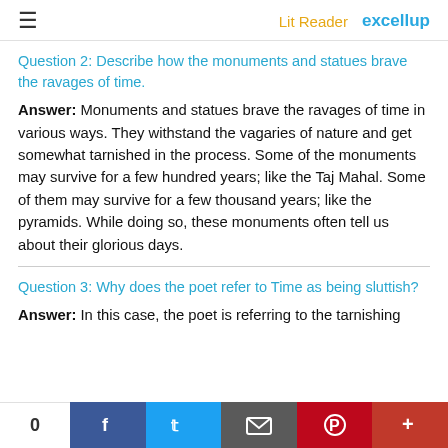≡   Lit Reader   excellup
Question 2: Describe how the monuments and statues brave the ravages of time.
Answer: Monuments and statues brave the ravages of time in various ways. They withstand the vagaries of nature and get somewhat tarnished in the process. Some of the monuments may survive for a few hundred years; like the Taj Mahal. Some of them may survive for a few thousand years; like the pyramids. While doing so, these monuments often tell us about their glorious days.
Question 3: Why does the poet refer to Time as being sluttish?
Answer: In this case, the poet is referring to the tarnishing